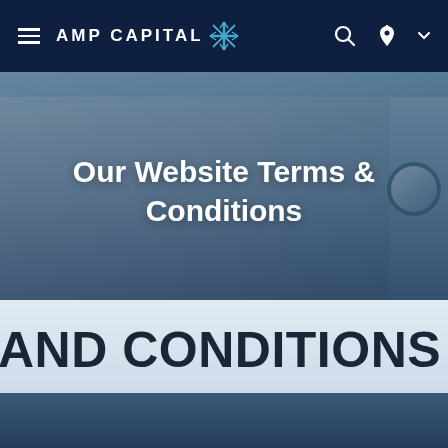AMP CAPITAL — navigation bar with hamburger menu, logo, search, location, and dropdown icons
[Figure (photo): Blue-tinted hero image showing office binders/folders with a white label reading 'AND CONDITIONS' visible at the bottom. Dark navy overlay applied. AMP Capital website header page.]
Our Website Terms & Conditions